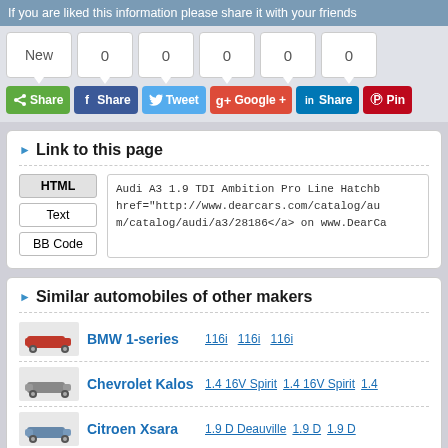If you are liked this information please share it with your friends
[Figure (screenshot): Social sharing widget with New count box, five zero-count boxes, and six social share buttons: Share (green), Facebook Share, Tweet, Google+, LinkedIn Share, Pinterest Pin]
Link to this page
HTML | Text | BB Code buttons with link text box showing: Audi A3 1.9 TDI Ambition Pro Line Hatchba... href="http://www.dearcars.com/catalog/au... m/catalog/audi/a3/28186</a> on www.DearCa...
Similar automobiles of other makers
BMW 1-series | 116i | 116i | 116i
Chevrolet Kalos | 1.4 16V Spirit | 1.4 16V Spirit | 1.4
Citroen Xsara | 1.9 D Deauville | 1.9 D | 1.9
Daewoo Nubira | 1.6 SE | 2.0 CDX | 2.0
Fiat Brava | 1.9 TD 75 SX | 1.9 TD 100 SX | 1.9
Ford Mondeo | 1.8 TD Atlantic | 1.8 TD Ambiente | 1.8